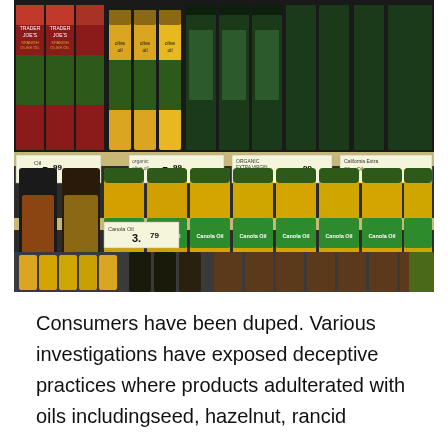[Figure (photo): Photograph of grocery store shelves stocked with various cooking oils including olive oil bottles and cans on the top shelf with price tags showing $5.99, and canola oil bottles on the middle shelf with a price tag showing $3.79, and other oil products on the bottom shelf.]
Consumers have been duped. Various investigations have exposed deceptive practices where products adulterated with oils includingseed, hazelnut, rancid